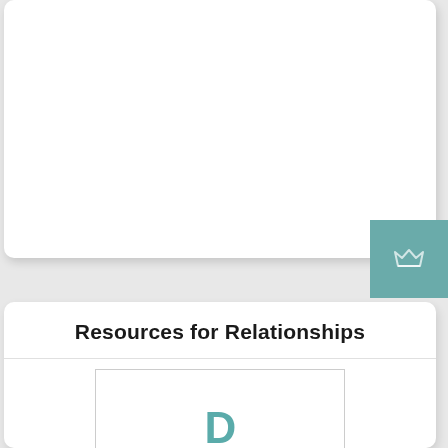[Figure (illustration): Upper white card area, mostly blank/empty content area]
[Figure (logo): Teal square with a white crown/basket icon]
Resources for Relationships
[Figure (illustration): White box with large partial teal bold text beginning with 'D' visible at bottom]